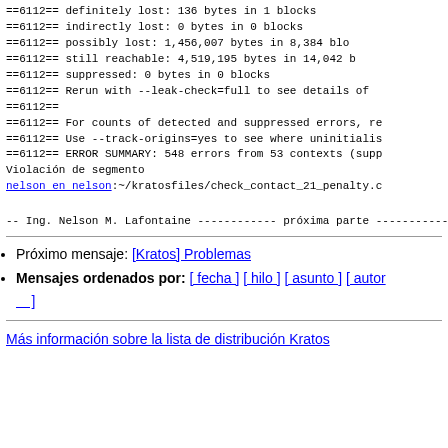==6112==     definitely lost: 136 bytes in 1 blocks
==6112==     indirectly lost: 0 bytes in 0 blocks
==6112==       possibly lost: 1,456,007 bytes in 8,384 blo
==6112==     still reachable: 4,519,195 bytes in 14,042 b
==6112==          suppressed: 0 bytes in 0 blocks
==6112== Rerun with --leak-check=full to see details of l
==6112==
==6112== For counts of detected and suppressed errors, re
==6112== Use --track-origins=yes to see where uninitialis
==6112== ERROR SUMMARY: 548 errors from 53 contexts (supp
Violación de segmento
nelson en nelson:~/kratosfiles/check_contact_21_penalty.
--
Ing. Nelson M. Lafontaine
------------ próxima parte ------------
Se ha borrado un adjunto en formato HTML...
URL: http://listas.cimne.upc.edu/pipermail/kratos/attachm
Próximo mensaje: [Kratos] Problemas
Mensajes ordenados por: [ fecha ] [ hilo ] [ asunto ] [ autor ]
Más información sobre la lista de distribución Kratos